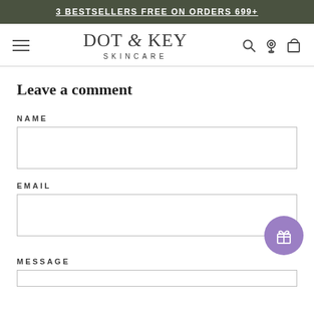3 BESTSELLERS FREE ON ORDERS 699+
[Figure (logo): Dot & Key Skincare logo with hamburger menu, search, location and bag icons]
Leave a comment
NAME
EMAIL
MESSAGE